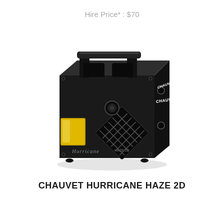Hire Price* : $70
[Figure (photo): Chauvet Hurricane Haze 2D haze machine — a black rectangular box with a carry handle on top, ventilation grill on front face, yellow fluid reservoir visible on left side, Chauvet logo on right side panel, Hurricane Haze 2D branding on front bottom.]
CHAUVET HURRICANE HAZE 2D